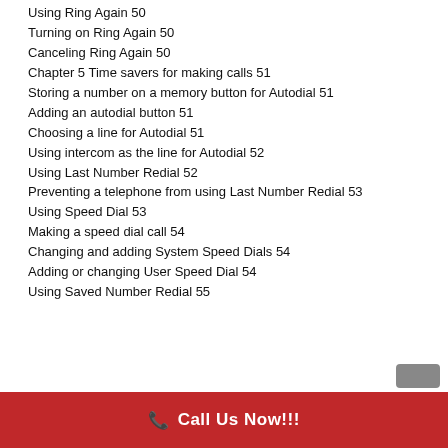Using Ring Again 50
Turning on Ring Again 50
Canceling Ring Again 50
Chapter 5 Time savers for making calls 51
Storing a number on a memory button for Autodial 51
Adding an autodial button 51
Choosing a line for Autodial 51
Using intercom as the line for Autodial 52
Using Last Number Redial 52
Preventing a telephone from using Last Number Redial 53
Using Speed Dial 53
Making a speed dial call 54
Changing and adding System Speed Dials 54
Adding or changing User Speed Dial 54
Using Saved Number Redial 55
📞 Call Us Now!!!